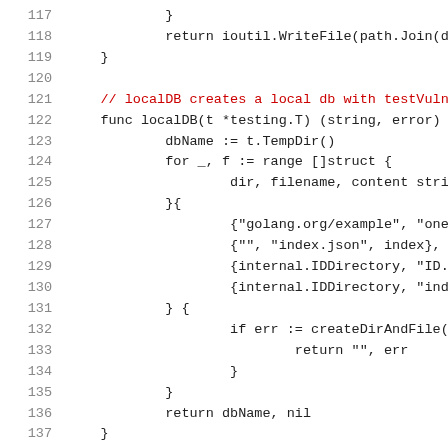117	}
118	return ioutil.WriteFile(path.Join(dir, ...
119	}
120
121	// localDB creates a local db with testVulns and...
122	func localDB(t *testing.T) (string, error) {
123		dbName := t.TempDir()
124		for _, f := range []struct {
125			dir, filename, content string
126		}{
127			{"golang.org/example", "one.json...
128			{"", "index.json", index},
129			{internal.IDDirectory, "ID.json...
130			{internal.IDDirectory, "index.js...
131		} {
132			if err := createDirAndFile(path...
133				return "", err
134			}
135		}
136		return dbName, nil
137	}